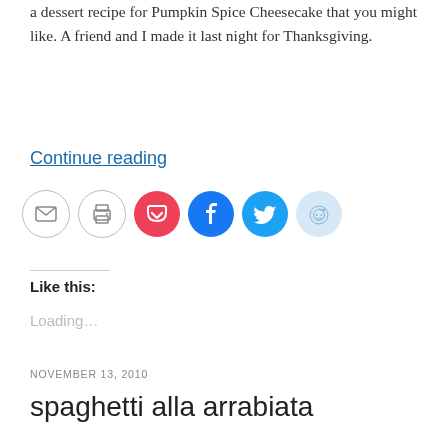a dessert recipe for Pumpkin Spice Cheesecake that you might like. A friend and I made it last night for Thanksgiving.
Continue reading
[Figure (other): Social sharing icon buttons: email, print, Pocket, Facebook, Twitter, Reddit]
Like this:
Loading...
NOVEMBER 13, 2010
spaghetti alla arrabiata